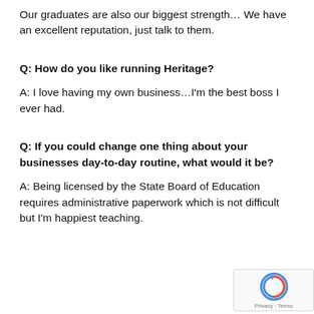Our graduates are also our biggest strength… We have an excellent reputation, just talk to them.
Q: How do you like running Heritage?
A: I love having my own business…I'm the best boss I ever had.
Q: If you could change one thing about your businesses day-to-day routine, what would it be?
A: Being licensed by the State Board of Education requires administrative paperwork which is not difficult but I'm happiest teaching.